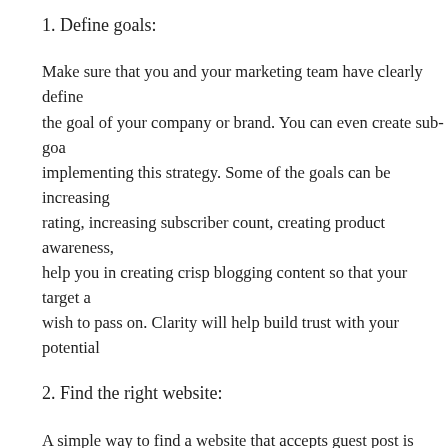1. Define goals:
Make sure that you and your marketing team have clearly defined the goal of your company or brand. You can even create sub-goals implementing this strategy. Some of the goals can be increasing rating, increasing subscriber count, creating product awareness, help you in creating crisp blogging content so that your target audience wish to pass on. Clarity will help build trust with your potential
2. Find the right website:
A simple way to find a website that accepts guest post is through use keywords like ‘write for us’, ‘guest article’, contribute for u can also find websites where your competitors are guest blogging. Your competitor’s newsletter or social media account will give y lists top websites in multiple domains. You can even start your v
3. Discussions with site owners: